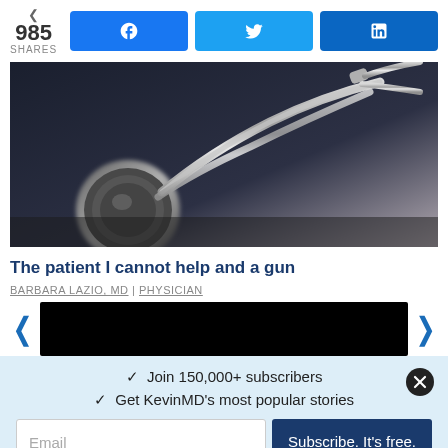985 SHARES | Facebook | Twitter | LinkedIn
[Figure (photo): Close-up photo of a medical stethoscope on a dark surface, silver/chrome color, with blurred background]
The patient I cannot help and a gun
BARBARA LAZIO, MD | PHYSICIAN
[Figure (other): Black redacted/censored bar]
✓  Join 150,000+ subscribers
✓  Get KevinMD's most popular stories
Email  Subscribe. It's free.